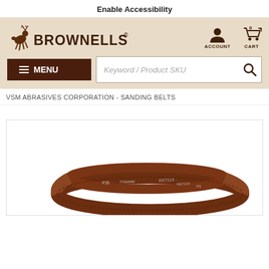Enable Accessibility
[Figure (logo): Brownells logo with running deer icon and BROWNELLS text]
[Figure (illustration): Account icon (person silhouette) with ACCOUNT label]
[Figure (illustration): Cart icon with 0 items and CART label]
MENU
Keyword / Product SKU
VSM ABRASIVES CORPORATION - SANDING BELTS
[Figure (photo): Sanding belt product photo showing a looped abrasive belt with P35 grit marking, Polyester backing, KK711X label, brownish-red abrasive surface]